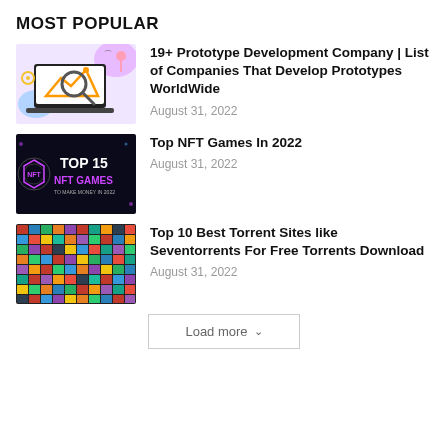MOST POPULAR
[Figure (illustration): Colorful illustration of a laptop with a magnifying glass, search/analytics theme, pink and purple tones]
19+ Prototype Development Company | List of Companies That Develop Prototypes WorldWide
August 31, 2022
[Figure (screenshot): Dark banner with NFT logo and text 'TOP 15 NFT GAMES TO MAKE MONEY IN 2022']
Top NFT Games In 2022
August 31, 2022
[Figure (photo): Grid collage of many movie/game DVD covers, colorful mosaic]
Top 10 Best Torrent Sites like Seventorrents For Free Torrents Download
August 31, 2022
Load more ∨